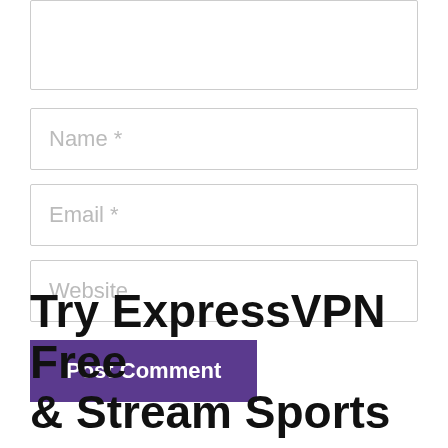[Figure (screenshot): A textarea input field (partially visible at top), followed by Name, Email, and Website text input fields, then a purple Post Comment button, all part of a web comment form UI.]
Try ExpressVPN Free & Stream Sports